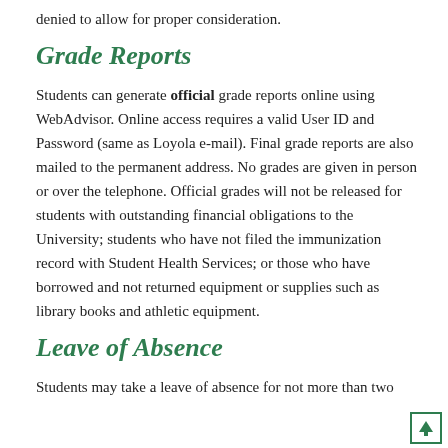denied to allow for proper consideration.
Grade Reports
Students can generate official grade reports online using WebAdvisor. Online access requires a valid User ID and Password (same as Loyola e-mail). Final grade reports are also mailed to the permanent address. No grades are given in person or over the telephone. Official grades will not be released for students with outstanding financial obligations to the University; students who have not filed the immunization record with Student Health Services; or those who have borrowed and not returned equipment or supplies such as library books and athletic equipment.
Leave of Absence
Students may take a leave of absence for not more than two